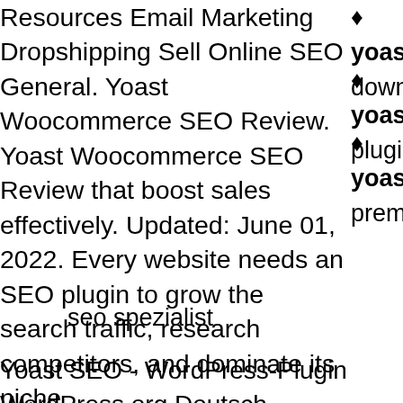Resources Email Marketing Dropshipping Sell Online SEO General. Yoast Woocommerce SEO Review. Yoast Woocommerce SEO Review that boost sales effectively. Updated: June 01, 2022. Every website needs an SEO plugin to grow the search traffic, research competitors, and dominate its niche.
yoas... downlo...
yoas... plugin
yoas... premiu...
seo spezialist
Yoast SEO - WordPress-Plugin WordPress.org Deutsch. WordPress.org. WordPress.org